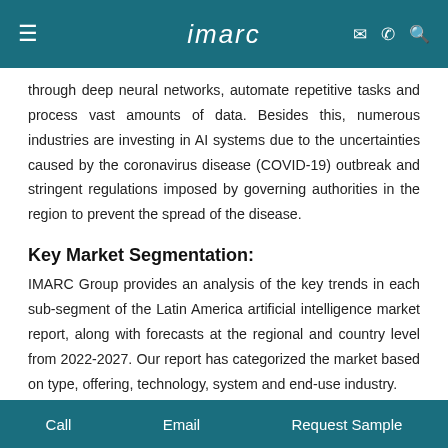imarc
through deep neural networks, automate repetitive tasks and process vast amounts of data. Besides this, numerous industries are investing in AI systems due to the uncertainties caused by the coronavirus disease (COVID-19) outbreak and stringent regulations imposed by governing authorities in the region to prevent the spread of the disease.
Key Market Segmentation:
IMARC Group provides an analysis of the key trends in each sub-segment of the Latin America artificial intelligence market report, along with forecasts at the regional and country level from 2022-2027. Our report has categorized the market based on type, offering, technology, system and end-use industry.
Call   Email   Request Sample